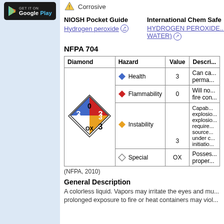[Figure (logo): Google Play store badge with dark background]
Corrosive
NIOSH Pocket Guide
Hydrogen peroxide
International Chem Safe...
HYDROGEN PEROXIDE... WATER)
NFPA 704
| Diamond | Hazard | Value | Descri... |
| --- | --- | --- | --- |
| [NFPA diamond SVG] | Health | 3 | Can ca... perma... |
|  | Flammability | 0 | Will no... fire con... |
|  | Instability | 3 | Capab... explosio... explosio... require... source... under c... initiatio... |
|  | Special | OX | Posses... proper... |
(NFPA, 2010)
General Description
A colorless liquid. Vapors may irritate the eyes and mu... prolonged exposure to fire or heat containers may viol...